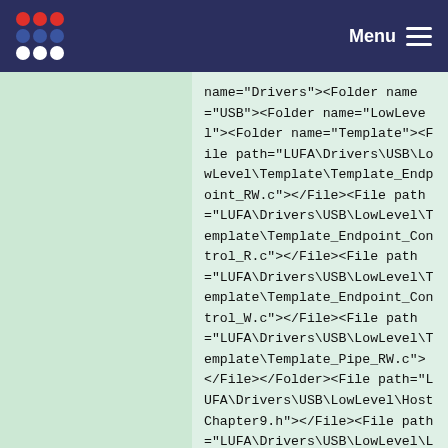Menu
name="Drivers"><Folder name="USB"><Folder name="LowLevel"><Folder name="Template"><File path="LUFA\Drivers\USB\LowLevel\Template\Template_Endpoint_RW.c"></File><File path="LUFA\Drivers\USB\LowLevel\Template\Template_Endpoint_Control_R.c"></File><File path="LUFA\Drivers\USB\LowLevel\Template\Template_Endpoint_Control_W.c"></File><File path="LUFA\Drivers\USB\LowLevel\Template\Template_Pipe_RW.c"></File></Folder><File path="LUFA\Drivers\USB\LowLevel\HostChapter9.h"></File><File path="LUFA\Drivers\USB\LowLevel\LowLevel.c"></File><File path="LUFA\Drivers\USB\LowLevel\LowL